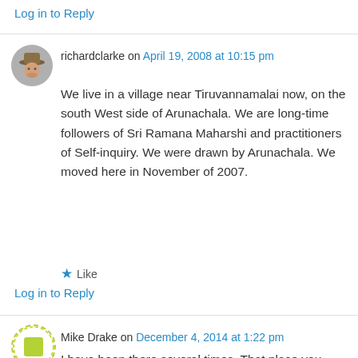Log in to Reply
richardclarke on April 19, 2008 at 10:15 pm
We live in a village near Tiruvannamalai now, on the south West side of Arunachala. We are long-time followers of Sri Ramana Maharshi and practitioners of Self-inquiry. We were drawn by Arunachala. We moved here in November of 2007.
★ Like
Log in to Reply
Mike Drake on December 4, 2014 at 1:22 pm
I have been there several times. That place you